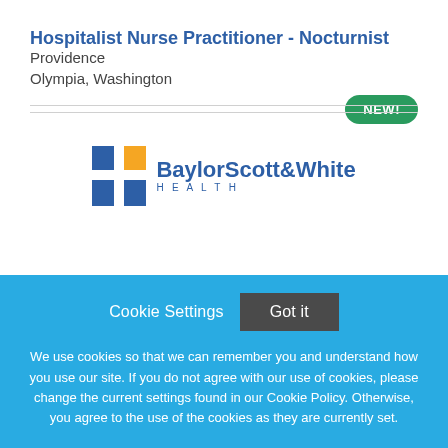Hospitalist Nurse Practitioner - Nocturnist
Providence
Olympia, Washington
[Figure (logo): Baylor Scott & White Health logo with cross symbol in blue and yellow/gold]
Cookie Settings  Got it
We use cookies so that we can remember you and understand how you use our site. If you do not agree with our use of cookies, please change the current settings found in our Cookie Policy. Otherwise, you agree to the use of the cookies as they are currently set.